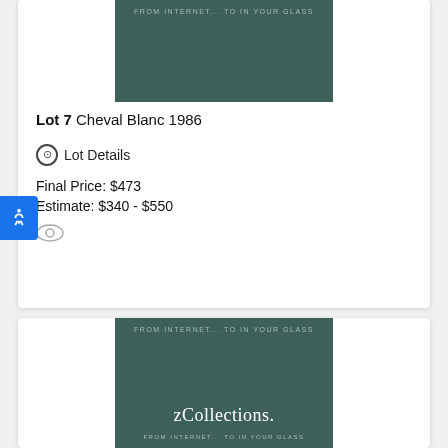[Figure (photo): Dark teal/green wine product image with text 'FROM INTERNET... TO IN YOUR GLASS' at top]
Lot 7 Cheval Blanc 1986
⊙ Lot Details
Final Price: $473
Estimate: $340 - $550
[Figure (photo): Dark teal/green wine product image with zCollections logo and tagline 'FROM INTERNET... TO IN YOUR GLASS']